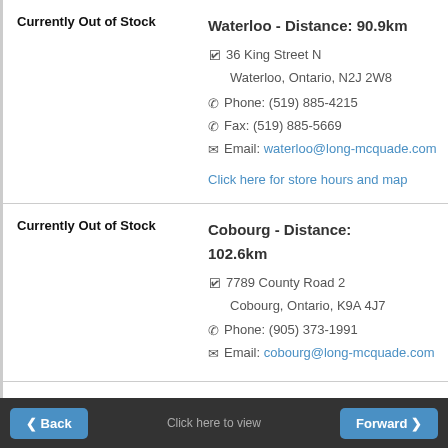Currently Out of Stock
Waterloo - Distance: 90.9km
36 King Street N
Waterloo, Ontario, N2J 2W8
Phone: (519) 885-4215
Fax: (519) 885-5669
Email: waterloo@long-mcquade.com
Click here for store hours and map
Currently Out of Stock
Cobourg - Distance: 102.6km
7789 County Road 2
Cobourg, Ontario, K9A 4J7
Phone: (905) 373-1991
Email: cobourg@long-mcquade.com
Back  Click here to view  Forward